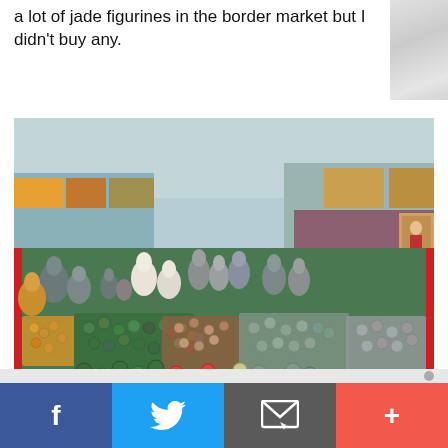a lot of jade figurines in the border market but I didn't buy any.
[Figure (photo): Photo of a market stall displaying numerous jade figurines, Buddha statues, jade bead necklaces, bracelets, and other stone jewelry arranged on a red-edged table. In the background are more stalls with textiles and decorative items. The photo is watermarked with 'Ishmael F. Ahab' and decorative asterisk-style symbols in the lower left.]
f  [Twitter bird icon]  [Email/envelope icon]  +